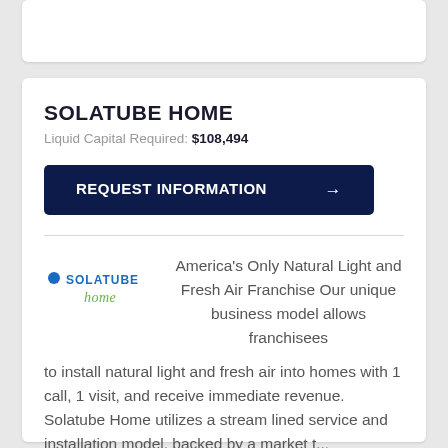SOLATUBE HOME
Liquid Capital Required: $108,494
REQUEST INFORMATION →
[Figure (logo): Solatube Home logo with blue dot and green cursive 'home' text]
America's Only Natural Light and Fresh Air Franchise Our unique business model allows franchisees to install natural light and fresh air into homes with 1 call, 1 visit, and receive immediate revenue. Solatube Home utilizes a stream lined service and installation model, backed by a market t...